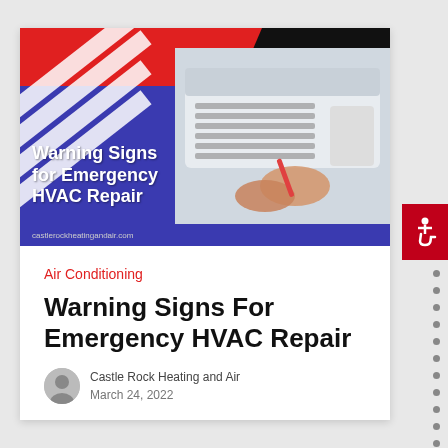[Figure (photo): Blog post hero image for Castle Rock Heating and Air showing warning signs for emergency HVAC repair. Blue and red background with diagonal white stripes on left, logo in top-right corner, photo of someone repairing a mini-split AC unit on right side, and white bold text overlay reading Warning Signs for Emergency HVAC Repair. URL castlerockheatingandair.com at bottom.]
Air Conditioning
Warning Signs For Emergency HVAC Repair
Castle Rock Heating and Air
March 24, 2022